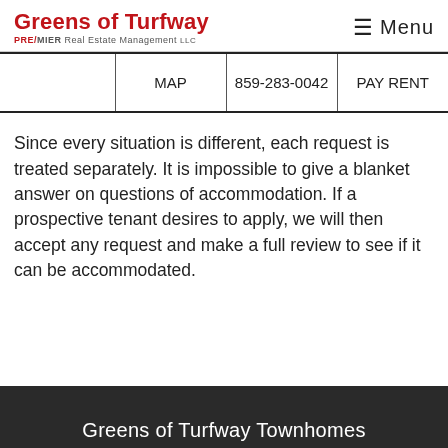Greens of Turfway — PREMIER Real Estate Management LLC
|  | MAP | 859-283-0042 | PAY RENT |
| --- | --- | --- | --- |
|  |
Since every situation is different, each request is treated separately. It is impossible to give a blanket answer on questions of accommodation. If a prospective tenant desires to apply, we will then accept any request and make a full review to see if it can be accommodated.
Greens of Turfway Townhomes